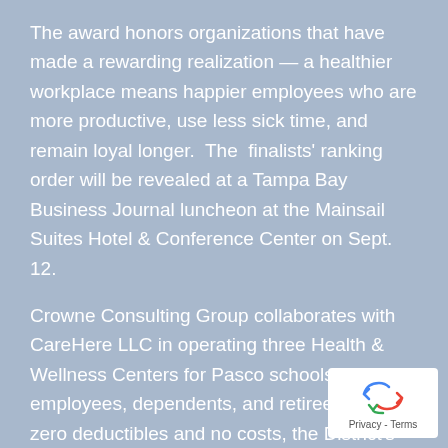The award honors organizations that have made a rewarding realization — a healthier workplace means happier employees who are more productive, use less sick time, and remain loyal longer.  The  finalists' ranking order will be revealed at a Tampa Bay Business Journal luncheon at the Mainsail Suites Hotel & Conference Center on Sept. 12.
Crowne Consulting Group collaborates with CareHere LLC in operating three Health & Wellness Centers for Pasco schools' employees, dependents, and retirees.  For zero deductibles and no costs, the District's health-plan members have free access to primary medical, screenings, lab work, X-rays, EKG, occupational health, wellness programs, disease management, and generic prescriptions.
[Figure (logo): reCAPTCHA privacy badge with recycling arrow icon and Privacy - Terms text]